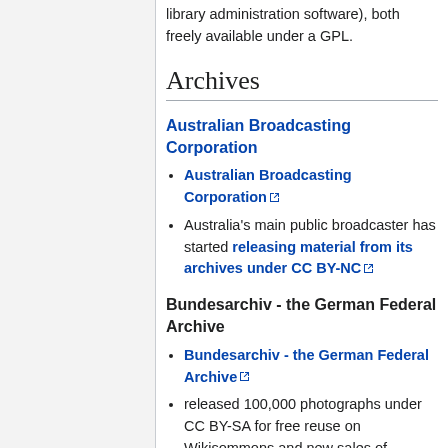library administration software), both freely available under a GPL.
Archives
Australian Broadcasting Corporation
Australian Broadcasting Corporation [external link]
Australia's main public broadcaster has started releasing material from its archives under CC BY-NC [external link]
Bundesarchiv - the German Federal Archive
Bundesarchiv - the German Federal Archive [external link]
released 100,000 photographs under CC BY-SA for free reuse on Wikisommons and new sales of